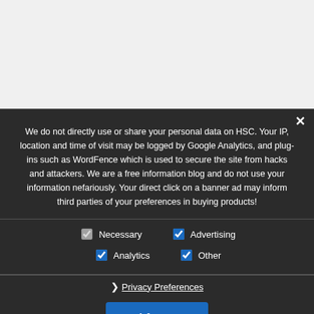We do not directly use or share your personal data on HSC. Your IP, location and time of visit may be logged by Google Analytics, and plug-ins such as WordFence which is used to secure the site from hacks and attackers. We are a free information blog and do not use your information nefariously. Your direct click on a banner ad may inform third parties of your preferences in buying products!
Necessary | Advertising | Analytics | Other
Privacy Preferences
I Agree
HSC TWITTER FEED
Hi Speed Cam.... @HiSpeedSc... · Feb 22 Panasonic ... fps in Full HD! hspeedcams.com/panasonic-lum... ... The 240fps barrier in mirror... een broken. Does the new camera live up to the lofty expectations?